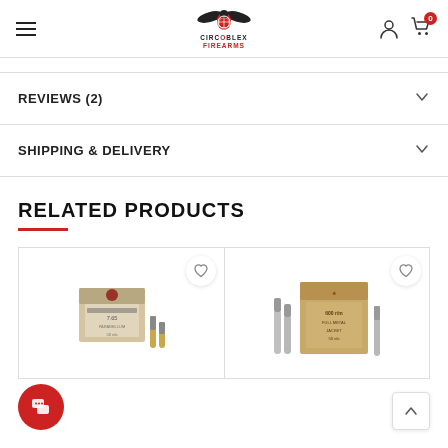CIRCOBLEX FIREARMS
REVIEWS (2)
SHIPPING & DELIVERY
RELATED PRODUCTS
[Figure (photo): Product card 1: ammunition box with bullets]
[Figure (photo): Product card 2: ammunition box with bullets]